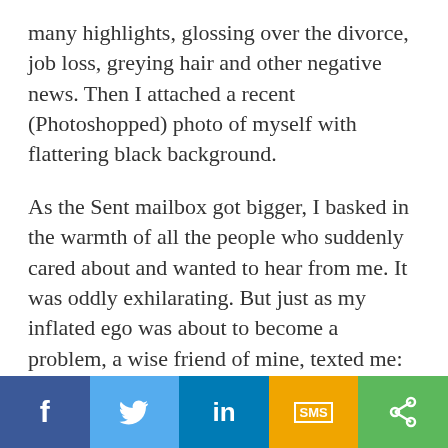many highlights, glossing over the divorce, job loss, greying hair and other negative news. Then I attached a recent (Photoshopped) photo of myself with flattering black background.
As the Sent mailbox got bigger, I basked in the warmth of all the people who suddenly cared about and wanted to hear from me. It was oddly exhilarating. But just as my inflated ego was about to become a problem, a wise friend of mine, texted me:
[Figure (infographic): Social sharing bar with five buttons: Facebook (dark blue, 'f'), Twitter (light blue, bird icon), LinkedIn (blue, 'in'), SMS (yellow/gold, 'SMS' in box), Share (green, '<' share icon)]